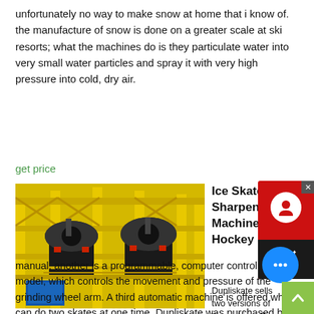unfortunately no way to make snow at home that i know of. the manufacture of snow is done on a greater scale at ski resorts; what the machines do is they particulate water into very small water particles and spray it with very high pressure into cold, dry air.
get price
[Figure (photo): Industrial yellow mining or crushing machine equipment with black machinery components]
Ice Skate Sharpening Machines For Ice Hockey Skates
Dupliskate sells two versions of the machine. One is manual, another is a programmable, computer controlled model, which controls the movement and pressure of the grinding wheel arm. A third automatic machine is offered which can do two skates at one time. Dupliskate was purchased by Blackstone Sports in 2019.